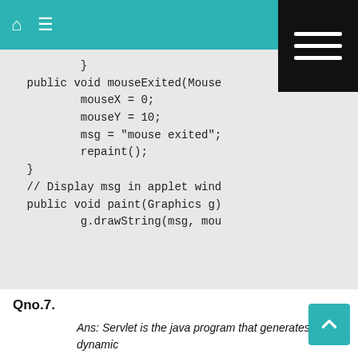home menu search
[Figure (screenshot): Black dropdown menu box overlapping the header, with three white horizontal lines]
}  public void mouseExited(Mouse
        mouseX = 0;
        mouseY = 10;
        msg = "mouse exited";
        repaint();
}
// Display msg in applet wind
public void paint(Graphics g)
        g.drawString(msg, mou
Qno.7.
Ans: Servlet is the java program that generates dynamic pages and extends the functionality of server.